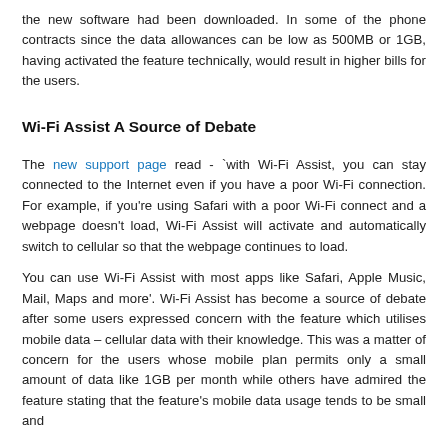the new software had been downloaded. In some of the phone contracts since the data allowances can be low as 500MB or 1GB, having activated the feature technically, would result in higher bills for the users.
Wi-Fi Assist A Source of Debate
The new support page read - `with Wi-Fi Assist, you can stay connected to the Internet even if you have a poor Wi-Fi connection. For example, if you're using Safari with a poor Wi-Fi connect and a webpage doesn't load, Wi-Fi Assist will activate and automatically switch to cellular so that the webpage continues to load.
You can use Wi-Fi Assist with most apps like Safari, Apple Music, Mail, Maps and more'. Wi-Fi Assist has become a source of debate after some users expressed concern with the feature which utilises mobile data – cellular data with their knowledge. This was a matter of concern for the users whose mobile plan permits only a small amount of data like 1GB per month while others have admired the feature stating that the feature's mobile data usage tends to be small and